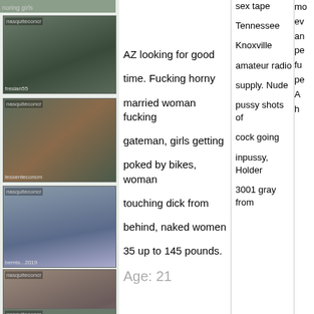[Figure (photo): Thumbnail image of person, partially visible at top]
[Figure (photo): Thumbnail image of person with label freslan55]
[Figure (photo): Thumbnail image of two people]
[Figure (photo): Thumbnail image of person in blue]
[Figure (photo): Thumbnail image of person with label nader...21]
[Figure (photo): Thumbnail image partially visible at bottom]
AZ looking for good time. Fucking horny married woman fucking gateman, girls getting poked by bikes, woman touching dick from behind, naked women 35 up to 145 pounds.
Age: 21
sex tape Tennessee Knoxville amateur radio supply. Nude pussy shots of cock going inpussy, Holder 3001 gray from
mo ev an pe fu pe A h